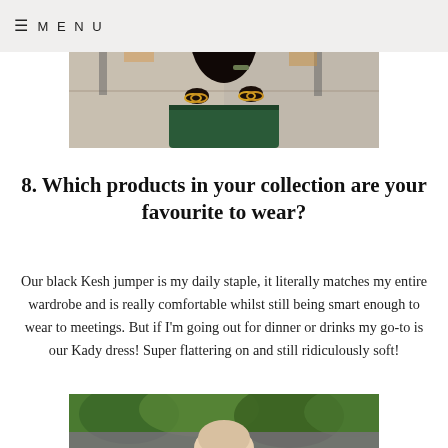≡ MENU
[Figure (photo): Photo of a woman seen from behind, wearing a green saree and an orange top, with long dark hair held by a decorative hair clip, in an indoor setting]
8. Which products in your collection are your favourite to wear?
Our black Kesh jumper is my daily staple, it literally matches my entire wardrobe and is really comfortable whilst still being smart enough to wear to meetings. But if I'm going out for dinner or drinks my go-to is our Kady dress! Super flattering on and still ridiculously soft!
[Figure (photo): Partial photo visible at the bottom of the page showing a woman outdoors with green foliage background]